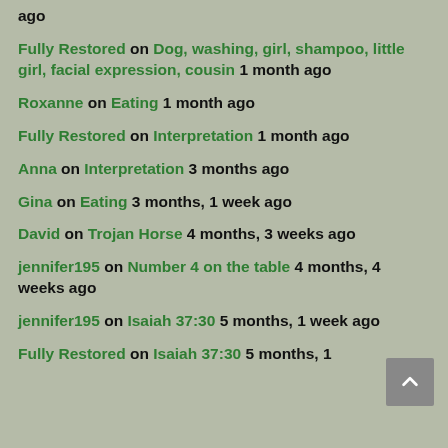ago
Fully Restored on Dog, washing, girl, shampoo, little girl, facial expression, cousin 1 month ago
Roxanne on Eating 1 month ago
Fully Restored on Interpretation 1 month ago
Anna on Interpretation 3 months ago
Gina on Eating 3 months, 1 week ago
David on Trojan Horse 4 months, 3 weeks ago
jennifer195 on Number 4 on the table 4 months, 4 weeks ago
jennifer195 on Isaiah 37:30 5 months, 1 week ago
Fully Restored on Isaiah 37:30 5 months, 1